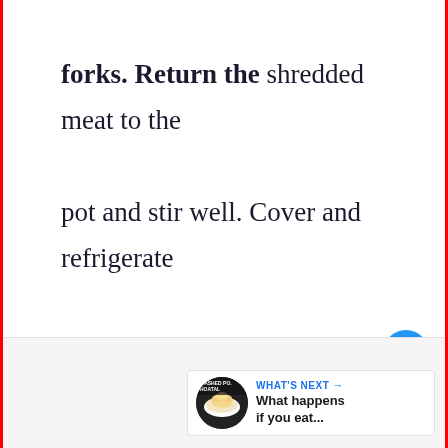forks. Return the shredded meat to the pot and stir well. Cover and refrigerate overnight. Drain the meat and discard the brine.
[Figure (other): Blue circular heart/favorite button icon]
[Figure (other): White circular share button icon]
[Figure (other): What's Next promotional card showing a food image thumbnail with text 'WHAT'S NEXT → What happens if you eat...']